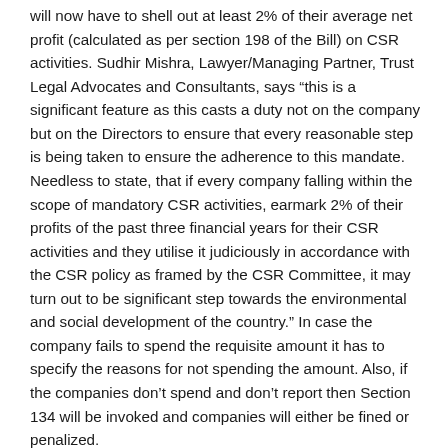will now have to shell out at least 2% of their average net profit (calculated as per section 198 of the Bill) on CSR activities. Sudhir Mishra, Lawyer/Managing Partner, Trust Legal Advocates and Consultants, says “this is a significant feature as this casts a duty not on the company but on the Directors to ensure that every reasonable step is being taken to ensure the adherence to this mandate. Needless to state, that if every company falling within the scope of mandatory CSR activities, earmark 2% of their profits of the past three financial years for their CSR activities and they utilise it judiciously in accordance with the CSR policy as framed by the CSR Committee, it may turn out to be significant step towards the environmental and social development of the country.” In case the company fails to spend the requisite amount it has to specify the reasons for not spending the amount. Also, if the companies don’t spend and don’t report then Section 134 will be invoked and companies will either be fined or penalized.